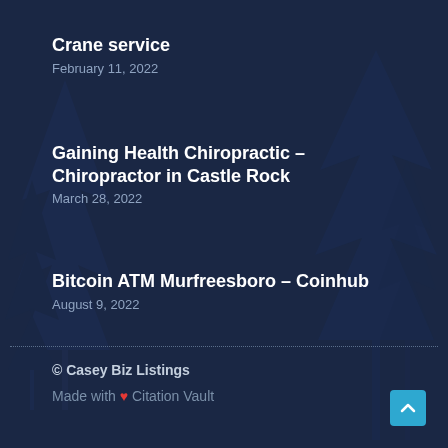Crane service
February 11, 2022
Gaining Health Chiropractic – Chiropractor in Castle Rock
March 28, 2022
Bitcoin ATM Murfreesboro – Coinhub
August 9, 2022
© Casey Biz Listings
Made with ❤ Citation Vault